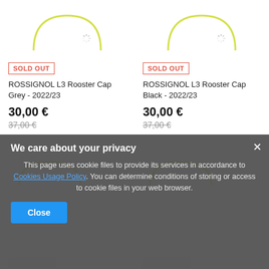[Figure (photo): Partial product image top-left - yellow circle border with loading spinner]
[Figure (photo): Partial product image top-right - yellow circle border with loading spinner]
SOLD OUT
ROSSIGNOL L3 Rooster Cap Grey - 2022/23
30,00 €
37,00 €
SOLD OUT
ROSSIGNOL L3 Rooster Cap Black - 2022/23
30,00 €
37,00 €
[Figure (screenshot): Privacy cookie consent modal overlay with dark background]
We care about your privacy
This page uses cookie files to provide its services in accordance to Cookies Usage Policy. You can determine conditions of storing or access to cookie files in your web browser.
Close